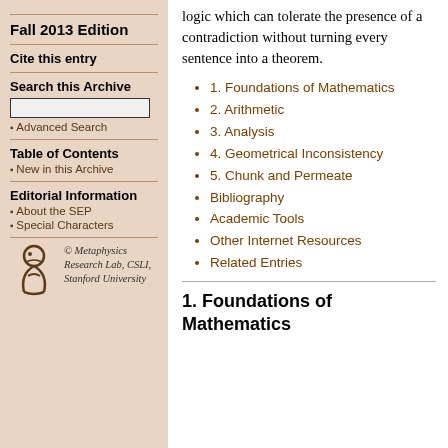logic which can tolerate the presence of a contradiction without turning every sentence into a theorem.
1. Foundations of Mathematics
2. Arithmetic
3. Analysis
4. Geometrical Inconsistency
5. Chunk and Permeate
Bibliography
Academic Tools
Other Internet Resources
Related Entries
1. Foundations of Mathematics
Fall 2013 Edition
Cite this entry
Search this Archive
Advanced Search
Table of Contents
New in this Archive
Editorial Information
About the SEP
Special Characters
[Figure (logo): Metaphysics Research Lab, CSLI, Stanford University logo with stylized figure]